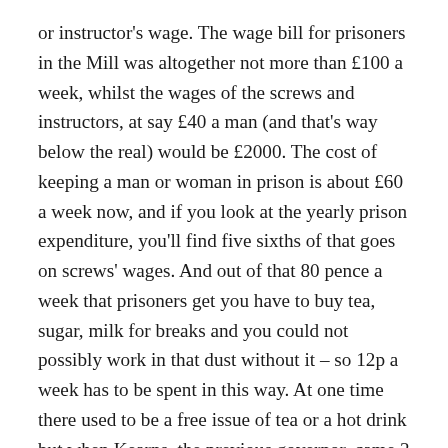or instructor's wage. The wage bill for prisoners in the Mill was altogether not more than £100 a week, whilst the wages of the screws and instructors, at say £40 a man (and that's way below the real) would be £2000. The cost of keeping a man or woman in prison is about £60 a week now, and if you look at the yearly prison expenditure, you'll find five sixths of that goes on screws' wages. And out of that 80 pence a week that prisoners get you have to buy tea, sugar, milk for breaks and you could not possibly work in that dust without it – so 12p a week has to be spent in this way. At one time there used to be a free issue of tea or a hot drink but when Kearns, the previous governor, came 3 years ago he stopped it, so the prisoners had to supply their own and many could never afford it. The rest of the wage went like this: 10p for the film club (prisoners run and pay for one film a week); 5p a week for the people in